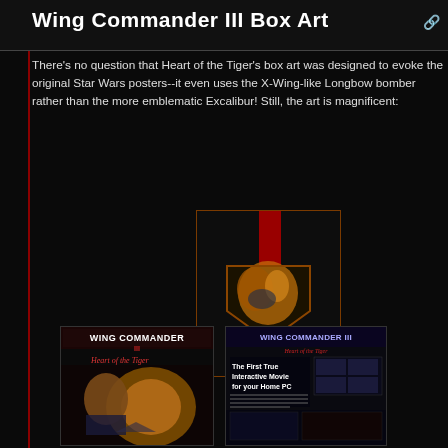Wing Commander III Box Art
There's no question that Heart of the Tiger's box art was designed to evoke the original Star Wars posters--it even uses the X-Wing-like Longbow bomber rather than the more emblematic Excalibur! Still, the art is magnificent:
[Figure (photo): Wing Commander III box art front cover showing a shield with character faces on a dark background with red vertical stripe]
[Figure (photo): Wing Commander III: Heart of the Tiger game box front cover showing characters and lion]
[Figure (photo): Wing Commander III: Heart of the Tiger game box back cover with text and screenshots]